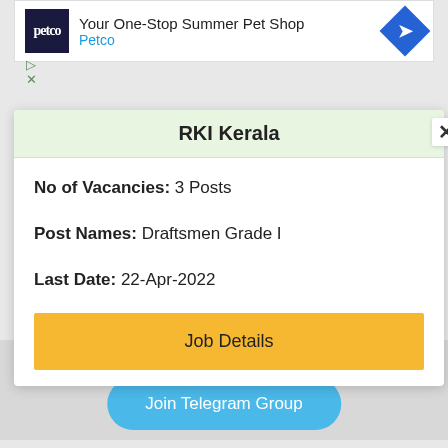[Figure (screenshot): Petco advertisement banner: 'Your One-Stop Summer Pet Shop' with Petco logo and navigation icon]
RKI Kerala
No of Vacancies: 3 Posts
Post Names: Draftsmen Grade I
Last Date: 22-Apr-2022
Job Details
Join Telegram Group